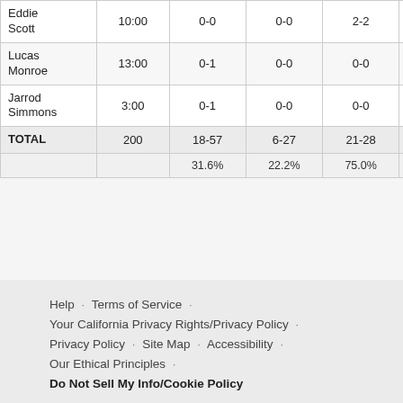| Player | MIN | FGM-A | 3PM-A | FTM-A | OFF | DEF | REB | AST | TO |
| --- | --- | --- | --- | --- | --- | --- | --- | --- | --- |
| Eddie Scott | 10:00 | 0-0 | 0-0 | 2-2 | 0 | 3 | 3 | 0 | 2 |
| Lucas Monroe | 13:00 | 0-1 | 0-0 | 0-0 | 0 | 1 | 1 | 0 | 1 |
| Jarrod Simmons | 3:00 | 0-1 | 0-0 | 0-0 | 0 | 1 | 1 | 1 | 0 |
| TOTAL | 200 | 18-57 | 6-27 | 21-28 | 10 | 28 | 38 | 10 | 15 |
|  |  | 31.6% | 22.2% | 75.0% | Team Rebs: 1 |  |  |  | Te |
Help · Terms of Service · Your California Privacy Rights/Privacy Policy · Privacy Policy · Site Map · Accessibility · Our Ethical Principles · Do Not Sell My Info/Cookie Policy